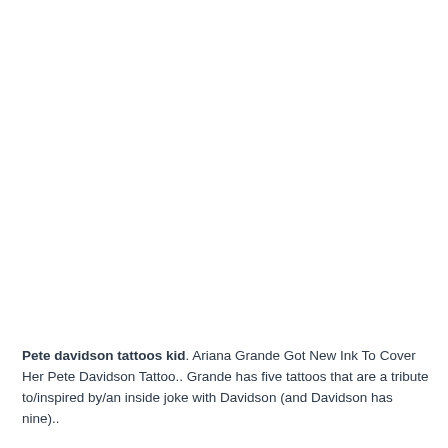Pete davidson tattoos kid. Ariana Grande Got New Ink To Cover Her Pete Davidson Tattoo.. Grande has five tattoos that are a tribute to/inspired by/an inside joke with Davidson (and Davidson has nine)..